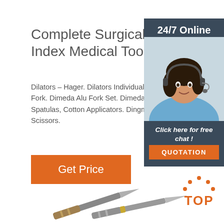Complete Surgical Instruments List Index Medical Tools ...
Dilators – Hager. Dilators Individual. Dilators Marks. Dimeda Alu Tuning Fork. Dimeda Alu Fork Set. Dimeda Excenter Scissors. Dimeda Spatulas, Cotton Applicators. Dingmann Bon Forceps. Dissecting Scissors.
[Figure (other): Orange 'Get Price' button]
[Figure (infographic): Right side panel with dark blue/grey background showing '24/7 Online' text, a customer service agent photo (woman with headset), orange italic text 'Click here for free chat!' and orange 'QUOTATION' button]
[Figure (photo): Surgical instruments (scalpels/knives) shown at bottom of page]
[Figure (other): Orange 'TOP' button with dots forming an arc above the text, bottom right corner]